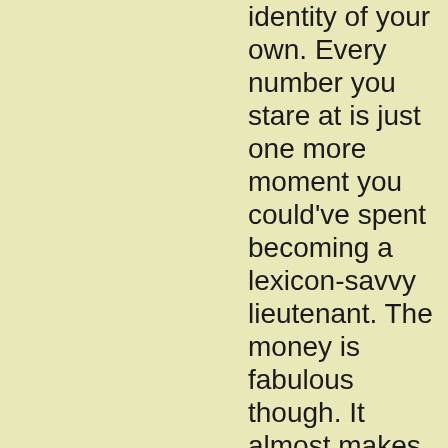identity of your own. Every number you stare at is just one more moment you could've spent becoming a lexicon-savvy lieutenant. The money is fabulous though. It almost makes me feel pain for East Asian men for getting pigeonholed into that box, because no amount of money can buy visibility. Blessed